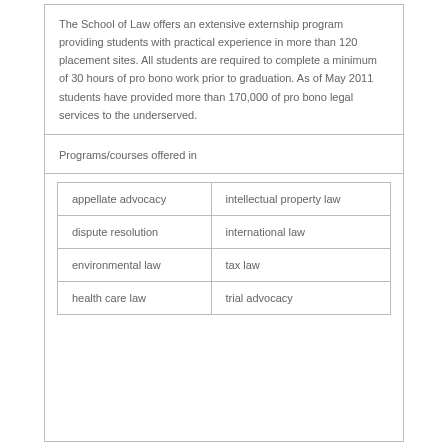The School of Law offers an extensive externship program providing students with practical experience in more than 120 placement sites. All students are required to complete a minimum of 30 hours of pro bono work prior to graduation. As of May 2011 students have provided more than 170,000 of pro bono legal services to the underserved.
Programs/courses offered in
| appellate advocacy | intellectual property law |
| dispute resolution | international law |
| environmental law | tax law |
| health care law | trial advocacy |